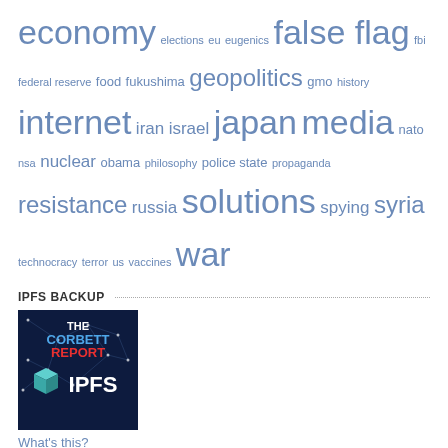economy elections eu eugenics false flag fbi federal reserve food fukushima geopolitics gmo history internet iran israel japan media nato nsa nuclear obama philosophy police state propaganda resistance russia solutions spying syria technocracy terror us vaccines war
IPFS BACKUP
[Figure (illustration): The Corbett Report IPFS backup logo: dark blue network background with white dots and lines, 'THE' in white bold text, 'CORBETT' in blue bold text, 'REPORT' in red bold text, a teal 3D cube icon, and 'IPFS' in large white bold text]
What's this?